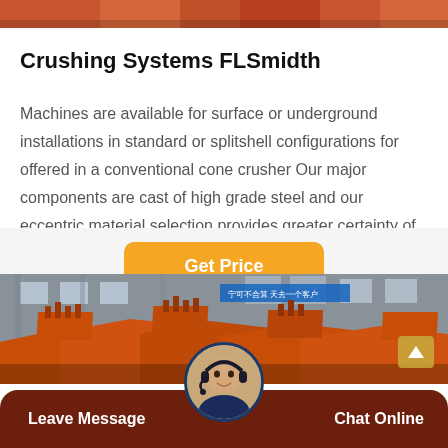[Figure (photo): Top portion of orange/red industrial machinery, partial view at top of page]
Crushing Systems FLSmidth
Machines are available for surface or underground installations in standard or splitshell configurations for offered in a conventional cone crusher Our major components are cast of high grade steel and our eccentric material selection provides greater certainty of a…
[Figure (other): Get Price button - orange/amber rounded button]
[Figure (photo): Industrial factory interior with orange mining/crushing machinery, Chinese text banner in background]
Leave Message
Chat Online